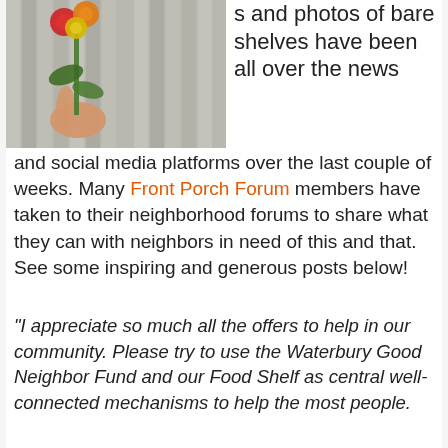[Figure (photo): A hand holding colorful flowers (red, orange, yellow) through a wooden fence or gate. The background shows vertical wooden slats.]
s and photos of bare shelves have been all over the news and social media platforms over the last couple of weeks. Many Front Porch Forum members have taken to their neighborhood forums to share what they can with neighbors in need of this and that. See some inspiring and generous posts below!
“I appreciate so much all the offers to help in our community. Please try to use the Waterbury Good Neighbor Fund and our Food Shelf as central well-connected mechanisms to help the most people.